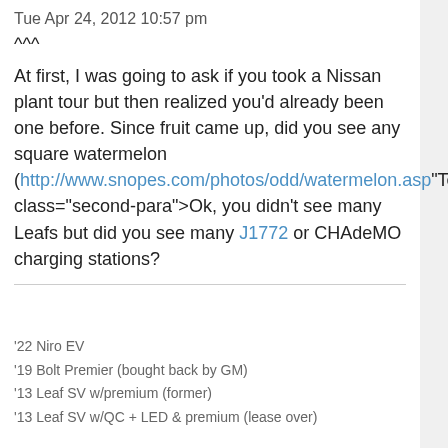Tue Apr 24, 2012 10:57 pm
^^^
At first, I was going to ask if you took a Nissan plant tour but then realized you'd already been one before. Since fruit came up, did you see any square watermelon (http://www.snopes.com/photos/odd/watermelon.asp" onclick="window.open(this.href);return false;)? I've been to Japan 4x before but never saw any (but didn't know to look for it).
Ok, you didn't see many Leafs but did you see many J1772 or CHAdeMO charging stations?
'22 Niro EV
'19 Bolt Premier (bought back by GM)
'13 Leaf SV w/premium (former)
'13 Leaf SV w/QC + LED & premium (lease over)